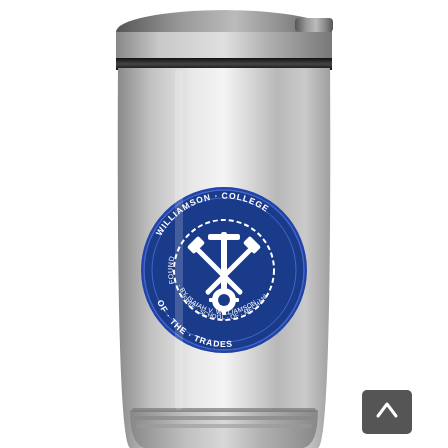[Figure (photo): A stainless steel travel mug/tumbler with a black lid, featuring a blue circular seal/logo of Williamson College of the Trades on the front. The mug has a brushed metallic finish with ribbed bottom accent rings. A dark gray back-to-top button with a white chevron/caret icon is visible in the bottom-right corner of the image.]